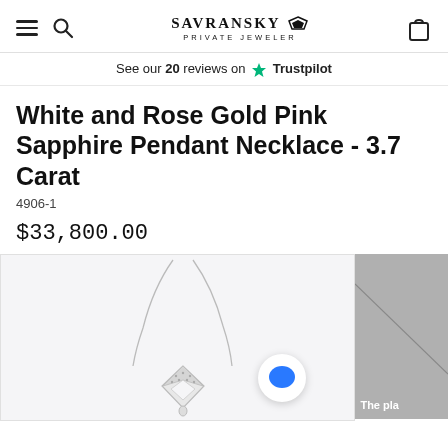SAVRANSKY PRIVATE JEWELER
See our 20 reviews on Trustpilot
White and Rose Gold Pink Sapphire Pendant Necklace - 3.7 Carat
4906-1
$33,800.00
[Figure (photo): Product photo of a white gold pink sapphire pendant necklace with a diamond-encrusted geometric pendant on a delicate chain, shown on a white background. A blue chat bubble icon is overlaid on the image.]
[Figure (photo): Partial second product image showing a close-up of the necklace chain on a gray background, with text 'The pla' visible at the bottom left.]